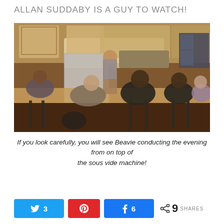ALLAN SUDDABY IS A GUY TO WATCH!
[Figure (photo): Group of people gathered around a kitchen island. A man in a striped shirt and cap stands talking while several others are seated on bar stools. The kitchen has glass-front cabinets and stainless steel appliances.]
If you look carefully, you will see Beavie conducting the evening from on top of the sous vide machine!
3  [Twitter share button]  [Pinterest button]  6  [Facebook share button]  < 9 SHARES